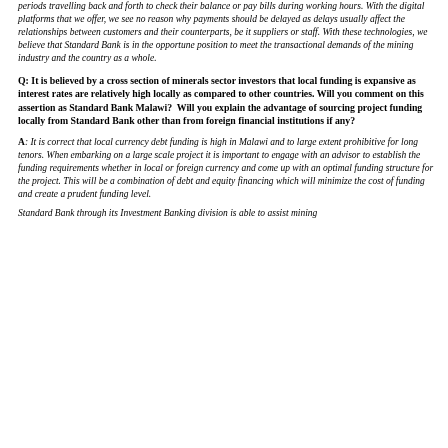periods travelling back and forth to check their balance or pay bills during working hours. With the digital platforms that we offer, we see no reason why payments should be delayed as delays usually affect the relationships between customers and their counterparts, be it suppliers or staff. With these technologies, we believe that Standard Bank is in the opportune position to meet the transactional demands of the mining industry and the country as a whole.
Q: It is believed by a cross section of minerals sector investors that local funding is expansive as interest rates are relatively high locally as compared to other countries. Will you comment on this assertion as Standard Bank Malawi?  Will you explain the advantage of sourcing project funding locally from Standard Bank other than from foreign financial institutions if any?
A: It is correct that local currency debt funding is high in Malawi and to large extent prohibitive for long tenors. When embarking on a large scale project it is important to engage with an advisor to establish the funding requirements whether in local or foreign currency and come up with an optimal funding structure for the project. This will be a combination of debt and equity financing which will minimize the cost of funding and create a prudent funding level.
Standard Bank through its Investment Banking division is able to assist mining...